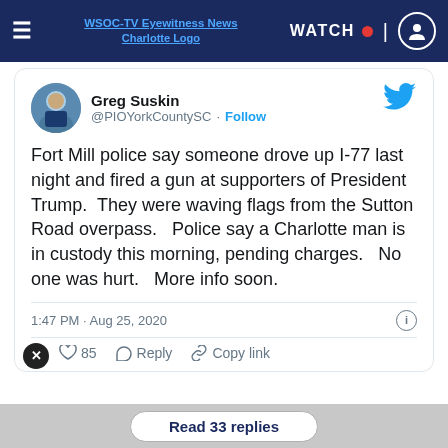WSOC-TV Eyewitness News Charlotte Logo | WATCH
[Figure (screenshot): Embedded tweet from @PIOYorkCountySC (Greg Suskin) about Fort Mill police shooting incident on Aug 25, 2020]
Fort Mill police say someone drove up I-77 last night and fired a gun at supporters of President Trump.  They were waving flags from the Sutton Road overpass.   Police say a Charlotte man is in custody this morning, pending charges.   No one was hurt.   More info soon.
1:47 PM · Aug 25, 2020
85  Reply  Copy link
Read 33 replies